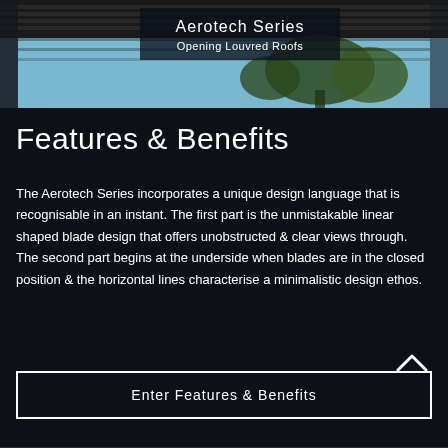[Figure (photo): Photo of Aerotech Series Opening Louvred Roofs — louvred roof structure with blue sky and trees visible through the blades. White text overlay reads 'Aerotech Series' and 'Opening Louvred Roofs'.]
Features & Benefits
The Aerotech Series incorporates a unique design language that is recognisable in an instant. The first part is the unmistakable linear shaped blade design that offers unobstructed & clear views through. The second part begins at the underside when blades are in the closed position & the horizontal lines characterise a minimalistic design ethos.
Enter Features & Benefits